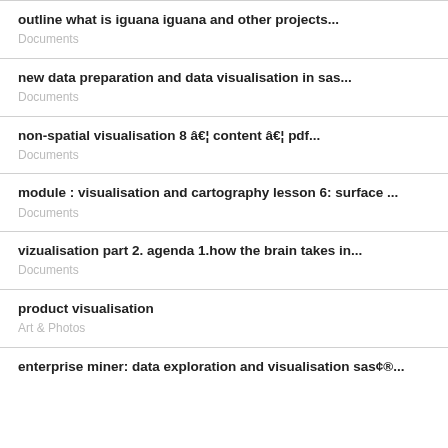outline what is iguana iguana and other projects...
Documents
new data preparation and data visualisation in sas...
Documents
non-spatial visualisation 8 â€¦ content â€¦ pdf...
Documents
module : visualisation and cartography lesson 6: surface ...
Documents
vizualisation part 2. agenda 1.how the brain takes in...
Documents
product visualisation
Art & Photos
enterprise miner: data exploration and visualisation sas©®...
Documents